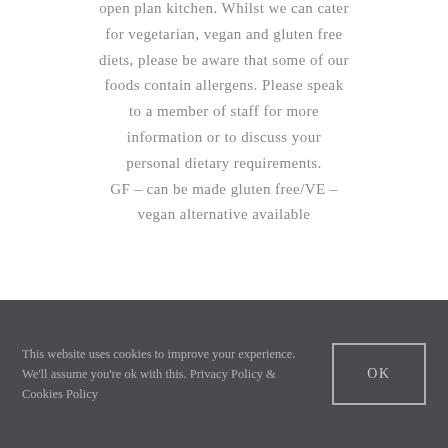...all food is prepared in our open plan kitchen. Whilst we can cater for vegetarian, vegan and gluten free diets, please be aware that some of our foods contain allergens. Please speak to a member of staff for more information or to discuss your personal dietary requirements. GF – can be made gluten free/VE – vegan alternative available
This website uses cookies to improve your experience. We'll assume you're ok with this. Privacy Policy & Cookies Policy